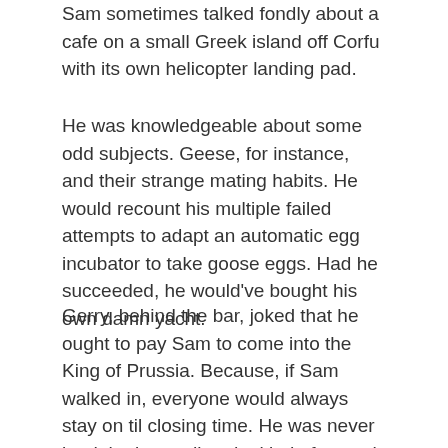Sam sometimes talked fondly about a cafe on a small Greek island off Corfu with its own helicopter landing pad.
He was knowledgeable about some odd subjects. Geese, for instance, and their strange mating habits. He would recount his multiple failed attempts to adapt an automatic egg incubator to take goose eggs. Had he succeeded, he would've bought his own damn yacht.
Gerry, behind the bar, joked that he ought to pay Sam to come into the King of Prussia. Because, if Sam walked in, everyone would always stay on til closing time. He was never loud: he just radiated a kind of warmth that made you want to gather round him. Colin and Arthur, the two old guys at the corner table, with their halves of bitter and their packets of cheese-'n-onion crisps, they liked him as much as anybody. Arthur said Sam had given him some really useful advice about his old dog's flatulence; he reckoned Sam would